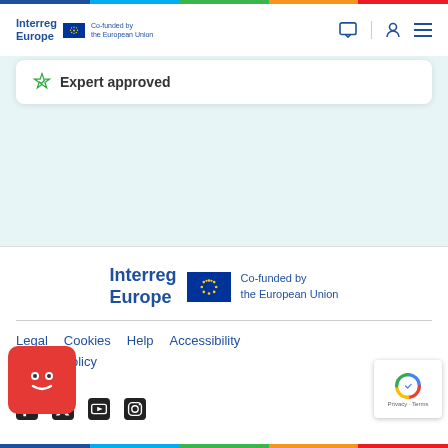Interreg Europe | Co-funded by the European Union
Expert approved
[Figure (logo): Interreg Europe logo with EU flag and Co-funded by the European Union text, centered in footer area]
Legal  Cookies  Help  Accessibility  Privacy Policy  Follow us
Follow us